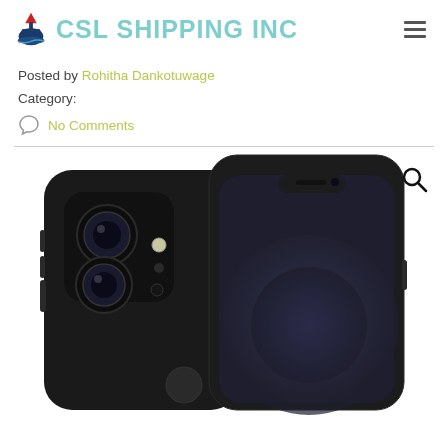CSL SHIPPING INC
Posted by Rohitha Dankotuwage
Category:
No Comments
[Figure (photo): Black iPhone 12 showing both the rear dual-camera system and the front screen with rounded corners and notch]